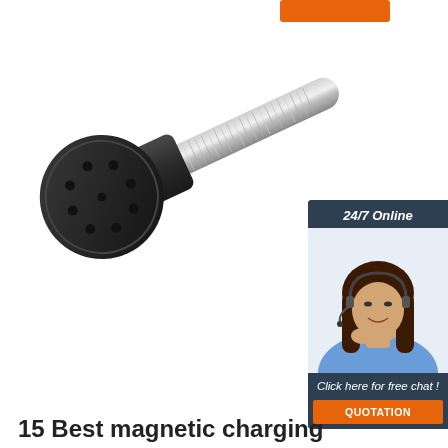[Figure (other): Orange button/badge at top of page]
[Figure (photo): Black multi-pin electrical connector with metal barrel/cable, photographed on white background — appears to be a 7-pin or 8-pin round automotive/trailer connector]
[Figure (photo): Chat widget sidebar: dark blue/slate background, '24/7 Online' header, photo of smiling woman with headset, 'Click here for free chat!' text, and orange QUOTATION button]
15 Best magnetic charging